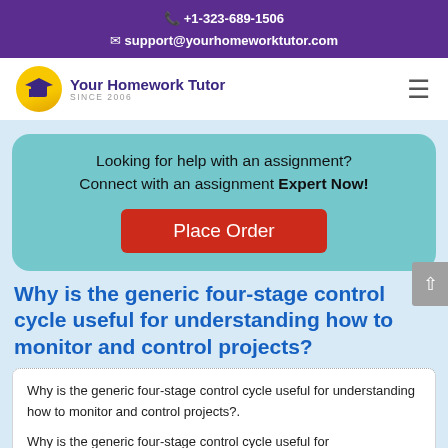+1-323-689-1506
support@yourhomeworktutor.com
[Figure (logo): Your Homework Tutor logo with graduation cap icon in yellow circle, text 'Your Homework Tutor SINCE 2006']
Looking for help with an assignment? Connect with an assignment Expert Now!
Place Order
Why is the generic four-stage control cycle useful for understanding how to monitor and control projects?
Why is the generic four-stage control cycle useful for understanding how to monitor and control projects?.

Why is the generic four-stage control cycle useful for